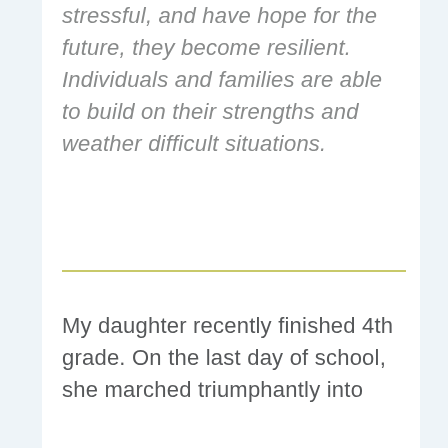stressful, and have hope for the future, they become resilient. Individuals and families are able to build on their strengths and weather difficult situations.
My daughter recently finished 4th grade. On the last day of school, she marched triumphantly into